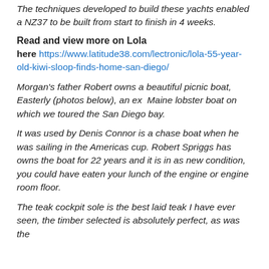The techniques developed to build these yachts enabled a NZ37 to be built from start to finish in 4 weeks.
Read and view more on Lola
here https://www.latitude38.com/lectronic/lola-55-year-old-kiwi-sloop-finds-home-san-diego/
Morgan's father Robert owns a beautiful picnic boat, Easterly (photos below), an ex  Maine lobster boat on which we toured the San Diego bay.
It was used by Denis Connor is a chase boat when he was sailing in the Americas cup. Robert Spriggs has owns the boat for 22 years and it is in as new condition, you could have eaten your lunch of the engine or engine room floor.
The teak cockpit sole is the best laid teak I have ever seen, the timber selected is absolutely perfect, as was the